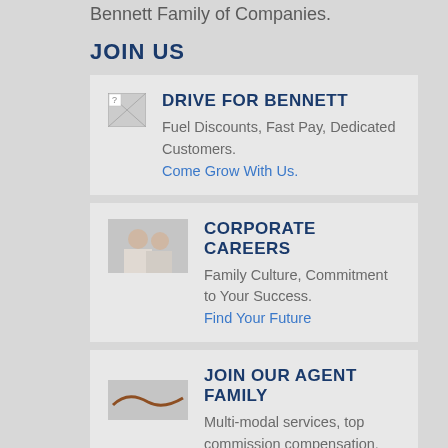Bennett Family of Companies.
JOIN US
DRIVE FOR BENNETT
Fuel Discounts, Fast Pay, Dedicated Customers.
Come Grow With Us.
CORPORATE CAREERS
Family Culture, Commitment to Your Success.
Find Your Future
JOIN OUR AGENT FAMILY
Multi-modal services, top commission compensation,